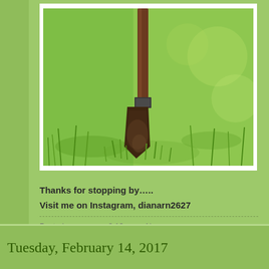[Figure (photo): A metal shovel/spade stuck in green lawn grass, photographed close-up with blurred background. Dark brown rusty metal blade and wooden handle.]
Thanks for stopping by…..
Visit me on Instagram,  dianarn2627
Posted by Diana at 8:13 PM   No comments:
Tuesday, February 14, 2017